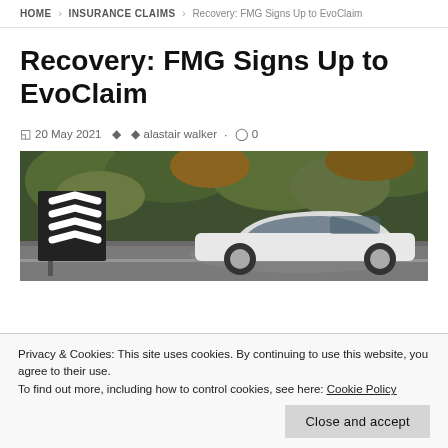HOME > INSURANCE CLAIMS > Recovery: FMG Signs Up to EvoClaim
Recovery: FMG Signs Up to EvoClaim
20 May 2021  alastair walker  0
[Figure (photo): Photo of a white car near a road sign with chevron markings, with trees in the background]
Privacy & Cookies: This site uses cookies. By continuing to use this website, you agree to their use.
To find out more, including how to control cookies, see here: Cookie Policy
Close and accept